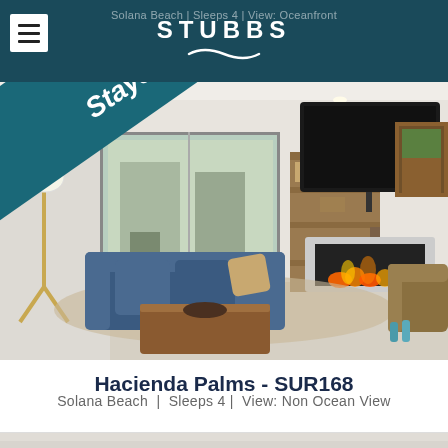Solana Beach | Sleeps 4 | View: Oceanfront
[Figure (logo): STUBBS logo with wave graphic on dark teal header bar]
[Figure (photo): Interior photo of a modern living room with blue sofa, fireplace, TV on wall, wooden shelving unit, large windows with patio/balcony view, floor lamp, coffee table, and leather chair. A diagonal dark teal banner reads 'Save 10% on Stays in September!']
Hacienda Palms - SUR168
Solana Beach  |  Sleeps 4 |  View: Non Ocean View
[Figure (photo): Partial view of a bedroom with white bedding, bottom strip of image visible]